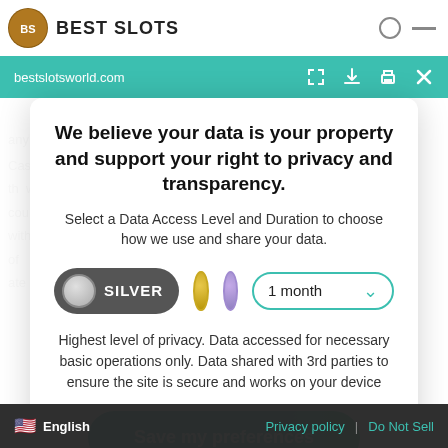BEST SLOTS | bestslotsworld.com
We believe your data is your property and support your right to privacy and transparency.
Select a Data Access Level and Duration to choose how we use and share your data.
[Figure (other): Privacy level selector with SILVER pill (active), gold circle, purple circle, and a 1 month duration dropdown.]
Highest level of privacy. Data accessed for necessary basic operations only. Data shared with 3rd parties to ensure the site is secure and works on your device
Save my preferences
English | Privacy policy | Do Not Sell